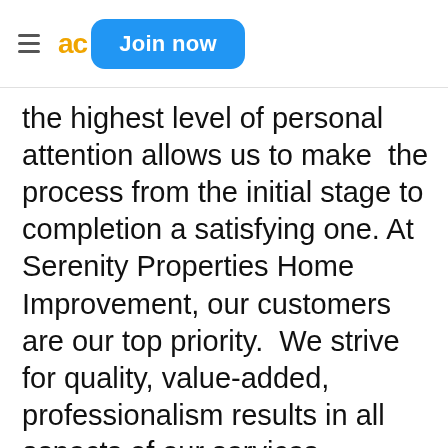≡ ac Join now
the highest level of personal attention allows us to make the process from the initial stage to completion a satisfying one. At Serenity Properties Home Improvement, our customers are our top priority. We strive for quality, value-added, professionalism results in all aspects of our services. Serenity Properties Home Improvement provides services to the following counties: New Haven, Hartford, New London, and Fairfield.
We realize assisting customers in purchasing a house, condominium, investment property, and/or a business is a major investment. It takes a lot of people